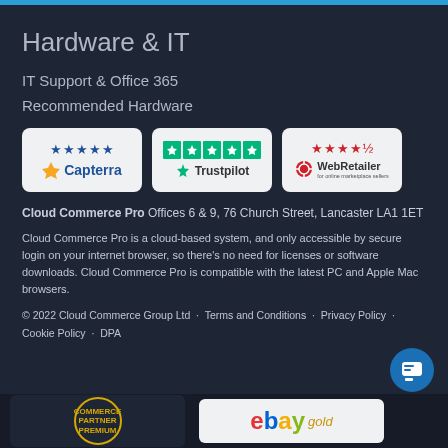Hardware & IT
IT Support & Office 365
Recommended Hardware
[Figure (logo): Capterra five-star rating badge]
[Figure (logo): Trustpilot five-star rating badge]
[Figure (logo): WebRetailer four-and-a-half-star rating badge]
Cloud Commerce Pro  Offices 6 & 9, 76 Church Street, Lancaster LA1 1ET
Cloud Commerce Pro is a cloud-based system, and only accessible by secure login on your internet browser, so there's no need for licenses or software downloads. Cloud Commerce Pro is compatible with the latest PC and Apple Mac browsers.
© 2022 Cloud Commerce Group Ltd · Terms and Conditions · Privacy Policy · Cookie Policy · DPA